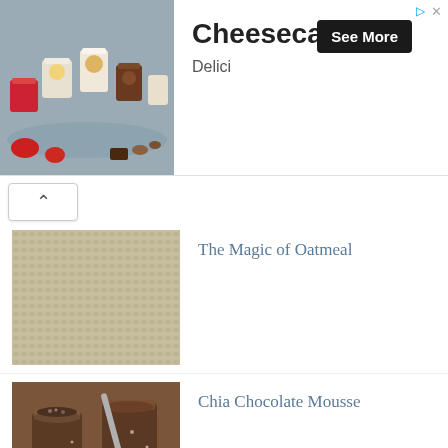[Figure (photo): Advertisement banner showing cheesecakes/desserts in jars with text 'Cheesecakes' and 'Delici', with a 'See More' button]
[Figure (photo): Thumbnail image of oatmeal grains (beige/tan texture)]
The Magic of Oatmeal
[Figure (photo): Thumbnail image of chia chocolate mousse in glass jars]
Chia Chocolate Mousse
[Figure (photo): Thumbnail image of spinach ricotta quiche in a pastry crust]
(Easy) Spinach Ricotta Quiche
[Figure (photo): Thumbnail image of grapefruit (red/pink)]
One Grapefruit A Day Helps Lowering Cholesterol